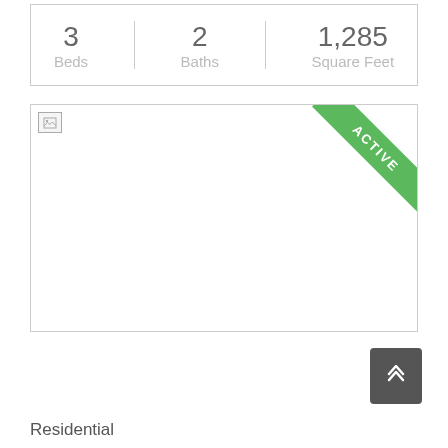| Beds | Baths | Square Feet |
| --- | --- | --- |
| 3 | 2 | 1,285 |
[Figure (photo): Listing property photo placeholder with broken image icon and an ACTIVE green ribbon banner in the top-right corner]
Residential